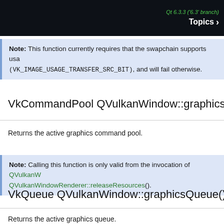Qt 6.3.3 ('6.3' branch) Topics
Note: This function currently requires that the swapchain supports usa (VK_IMAGE_USAGE_TRANSFER_SRC_BIT), and will fail otherwise.
VkCommandPool QVulkanWindow::graphicsComm
Returns the active graphics command pool.
Note: Calling this function is only valid from the invocation of QVulkanWindowRenderer::releaseResources().
VkQueue QVulkanWindow::graphicsQueue() const
Returns the active graphics queue.